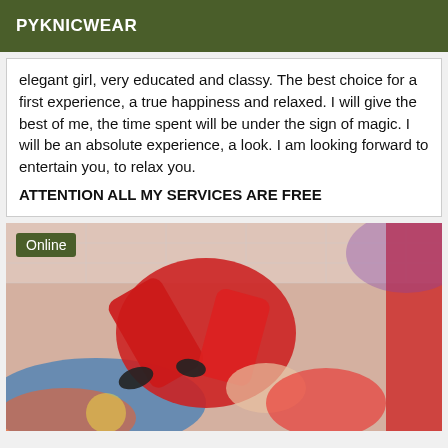PYKNICWEAR
elegant girl, very educated and classy. The best choice for a first experience, a true happiness and relaxed. I will give the best of me, the time spent will be under the sign of magic. I will be an absolute experience, a look. I am looking forward to entertain you, to relax you. ATTENTION ALL MY SERVICES ARE FREE
[Figure (photo): Photo showing a person in red outfit/stockings on a colorful bed with tiled wall background, with an 'Online' badge overlay]